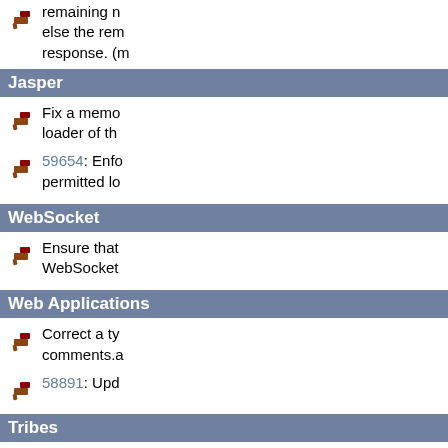remaining n else the rem response. (m
Jasper
Fix a memo loader of th
59654: Enfo permitted lo
WebSocket
Ensure that WebSocket
Web Applications
Correct a ty comments.a
58891: Upd
Tribes
Fix potentia using the st